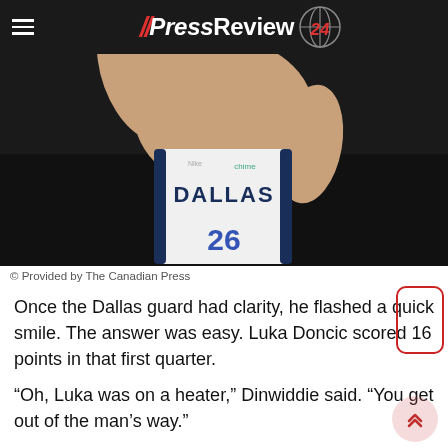Press Review 24
[Figure (photo): Dallas Mavericks player wearing jersey number 26, arm raised, shot against dark background]
© Provided by The Canadian Press
Once the Dallas guard had clarity, he flashed a quick smile. The answer was easy. Luka Doncic scored 16 points in that first quarter.
“Oh, Luka was on a heater,” Dinwiddie said. “You get out of the man’s way.”
Next, the Mavericks after entered that court Kristaps